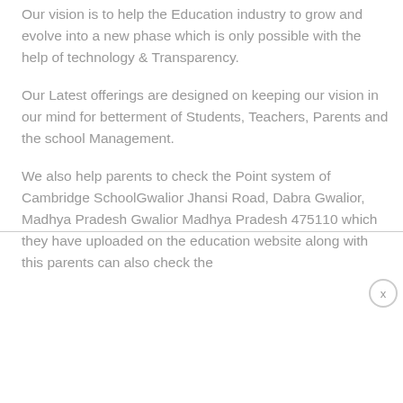Our vision is to help the Education industry to grow and evolve into a new phase which is only possible with the help of technology & Transparency.
Our Latest offerings are designed on keeping our vision in our mind for betterment of Students, Teachers, Parents and the school Management.
We also help parents to check the Point system of Cambridge SchoolGwalior Jhansi Road, Dabra Gwalior, Madhya Pradesh Gwalior Madhya Pradesh 475110 which they have uploaded on the education website along with this parents can also check the